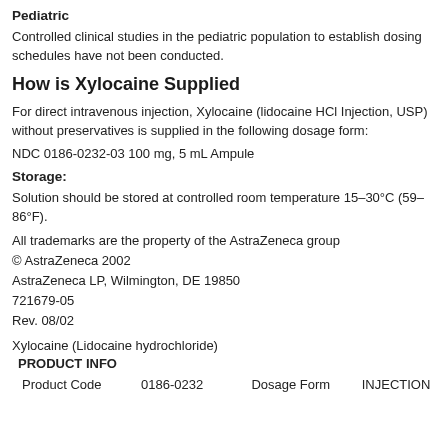Pediatric
Controlled clinical studies in the pediatric population to establish dosing schedules have not been conducted.
How is Xylocaine Supplied
For direct intravenous injection, Xylocaine (lidocaine HCl Injection, USP) without preservatives is supplied in the following dosage form:
NDC 0186-0232-03 100 mg, 5 mL Ampule
Storage:
Solution should be stored at controlled room temperature 15–30°C (59–86°F).
All trademarks are the property of the AstraZeneca group
© AstraZeneca 2002
AstraZeneca LP, Wilmington, DE 19850
721679-05
Rev. 08/02
Xylocaine (Lidocaine hydrochloride)
PRODUCT INFO
| Product Code | 0186-0232 | Dosage Form | INJECTION |
| --- | --- | --- | --- |